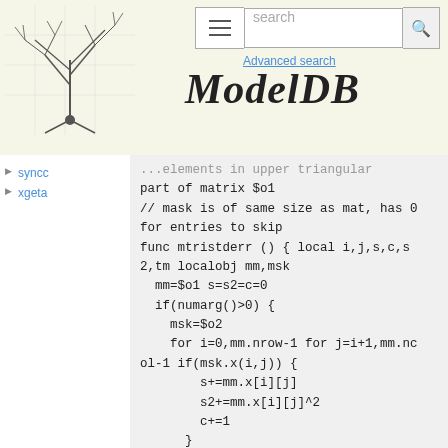ModelDB - header with logo, search bar, advanced search
syncc
xgeta
part of matrix $o1
// mask is of same size as mat, has 0
for entries to skip
func mtristderr () { local i,j,s,c,s
2,tm localobj mm,msk
  mm=$o1 s=s2=c=0
  if(numarg()>0) {
    msk=$o2
    for i=0,mm.nrow-1 for j=i+1,mm.nc
ol-1 if(msk.x(i,j)) {
        s+=mm.x[i][j]
        s2+=mm.x[i][j]^2
        c+=1
      }
  } else {
    for i=0,mm.nrow-1 for j=i+1,mm.nc
ol-1 {
        s+=mm.x[i][j]
        s2+=mm.x[i][j]^2
        c+=1